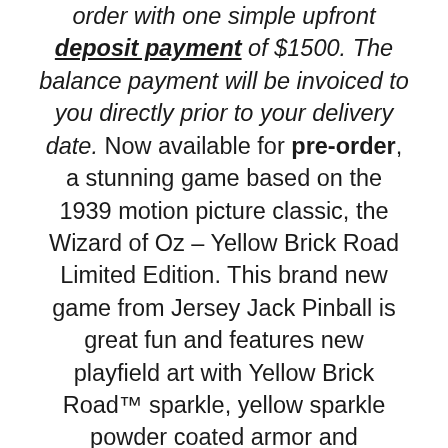order with one simple upfront deposit payment of $1500. The balance payment will be invoiced to you directly prior to your delivery date. Now available for pre-order, a stunning game based on the 1939 motion picture classic, the Wizard of Oz – Yellow Brick Road Limited Edition. This brand new game from Jersey Jack Pinball is great fun and features new playfield art with Yellow Brick Road™ sparkle, yellow sparkle powder coated armor and wireforms, Yellow Brick Road™ attract mode screen, exclusive wood apron with yellow brick, beautiful Rad-Cal cabinet and